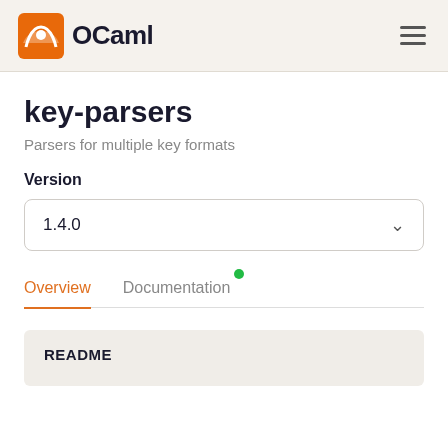OCaml
key-parsers
Parsers for multiple key formats
Version
1.4.0
Overview
Documentation
README